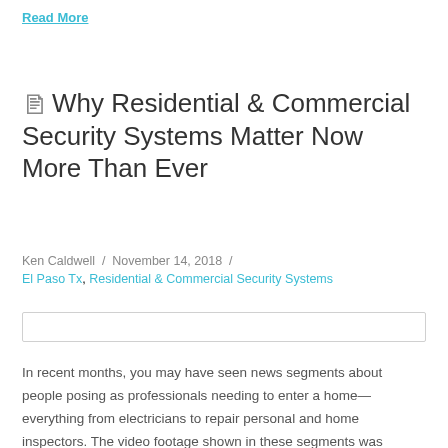Read More
Why Residential & Commercial Security Systems Matter Now More Than Ever
Ken Caldwell / November 14, 2018 /
El Paso Tx, Residential & Commercial Security Systems
[Figure (other): Horizontal image placeholder or loading bar]
In recent months, you may have seen news segments about people posing as professionals needing to enter a home—everything from electricians to repair personal and home inspectors. The video footage shown in these segments was captured by high-tech security